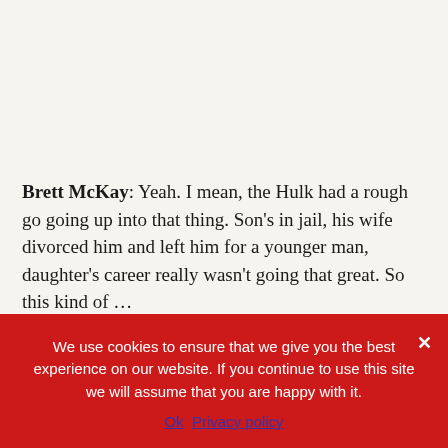Brett McKay: Yeah. I mean, the Hulk had a rough go going up into that thing. Son's in jail, his wife divorced him and left him for a younger man, daughter's career really wasn't going that great. So this kind of …
Ryan Holiday: Yeah. That…
We use cookies to ensure that we give you the best experience on our website. If you continue to use this site we will assume that you are happy with it.
Ok   Privacy policy